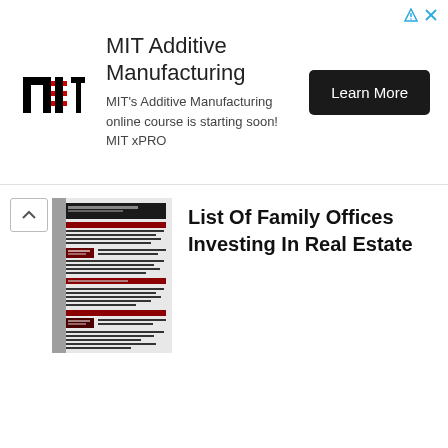[Figure (advertisement): MIT Additive Manufacturing advertisement banner with MIT logo, headline 'MIT Additive Manufacturing', subtitle text 'MIT's Additive Manufacturing online course is starting soon! MIT xPRO', and a 'Learn More' button]
[Figure (illustration): Thumbnail image of a document titled 'List Of Family Offices Investing In Real Estate', showing a dark red/maroon themed document with text]
List Of Family Offices Investing In Real Estate